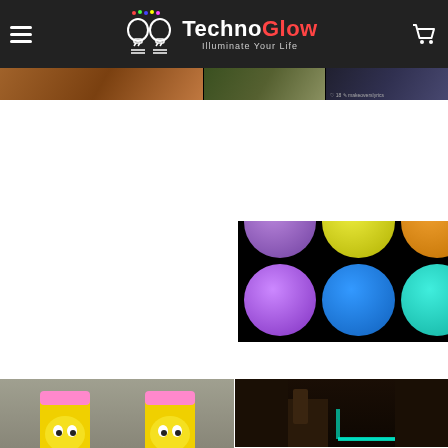TechnoGlow — Illuminate Your Life
[Figure (photo): Collage of glow-in-the-dark and LED product photos on a website page for TechnoGlow. Top strip shows partial images. Second row: glowing cube with colored dots, blue hexagon light structures at dusk, yellow-green glowing knife/pen objects, glowing figure-8 ring. Large right panel: grid of 12 colored glowing circles (orange, red, blue-green, cyan, purple, yellow, orange, purple, purple, blue, cyan, cyan rows). Third row: large yellow cartoon pencil characters, indoor scene with glowing floor strip, orange spider-web ring. Fourth row: continuation of pencil characters, glowing coral/sea anemone on purple background, teal bird shape.]